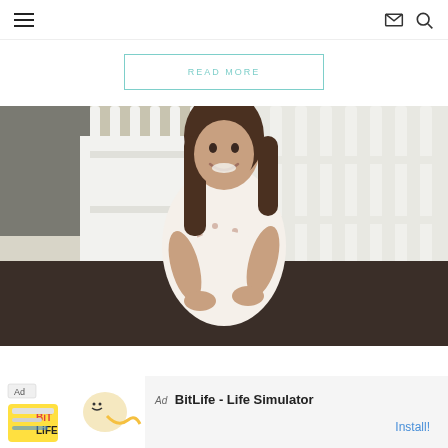Navigation header with hamburger menu, email icon, and search icon
READ MORE
[Figure (photo): A smiling pregnant woman with long brown hair wearing a white floral dress, standing in front of a white picket fence with garden beds]
Ad BitLife - Life Simulator Install!